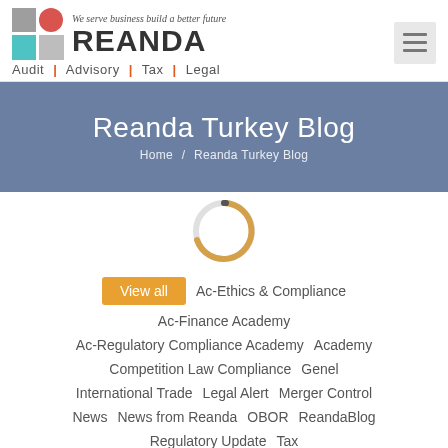[Figure (logo): Reanda logo with colorful grid and brand name, tagline 'We serve business build a better future', services: Audit, Advisory, Tax, Legal]
Reanda Turkey Blog
Home / Reanda Turkey Blog
[Figure (other): Loading spinner circle, partially colored in orange/tan on white background]
View all
Ac-Ethics & Compliance
Ac-Finance Academy
Ac-Regulatory Compliance Academy
Academy
Competition Law Compliance
Genel
International Trade
Legal Alert
Merger Control
News
News from Reanda
OBOR
ReandaBlog
Regulatory Update
Tax